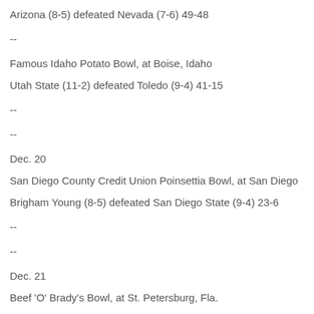Arizona (8-5) defeated Nevada (7-6) 49-48
--
Famous Idaho Potato Bowl, at Boise, Idaho
Utah State (11-2) defeated Toledo (9-4) 41-15
--
--
Dec. 20
San Diego County Credit Union Poinsettia Bowl, at San Diego
Brigham Young (8-5) defeated San Diego State (9-4) 23-6
--
--
Dec. 21
Beef 'O' Brady's Bowl, at St. Petersburg, Fla.
Central Florida (10-4) defeated Ball State (9-4) 38-17